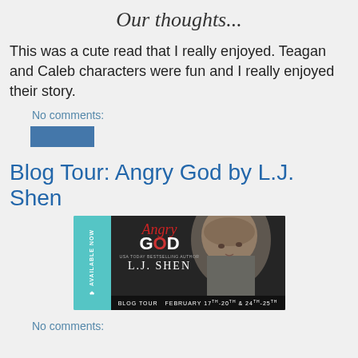Our thoughts...
This was a cute read that I really enjoyed. Teagan and Caleb characters were fun and I really enjoyed their story.
No comments:
[Figure (other): Blue button/widget element]
Blog Tour: Angry God by L.J. Shen
[Figure (illustration): Blog tour banner for Angry God by L.J. Shen. Teal left sidebar with 'Available Now' text vertical. Right side shows book title 'Angry God' by L.J. Shen with a moody black and white photo of a man. Bottom bar reads 'BLOG TOUR FEBRUARY 17-20TH & 24TH-25TH']
No comments: